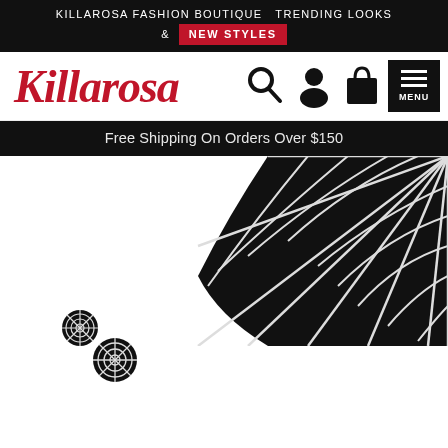KILLAROSA FASHION BOUTIQUE  TRENDING LOOKS & NEW STYLES
[Figure (logo): Killarosa script logo in red italic cursive font]
[Figure (illustration): Navigation icons: search magnifying glass, user profile silhouette, shopping bag, hamburger menu labeled MENU]
Free Shipping On Orders Over $150
[Figure (illustration): Large black spiderweb design in upper right corner of content area]
[Figure (illustration): Two small circular spiderweb designs in lower left of content area]